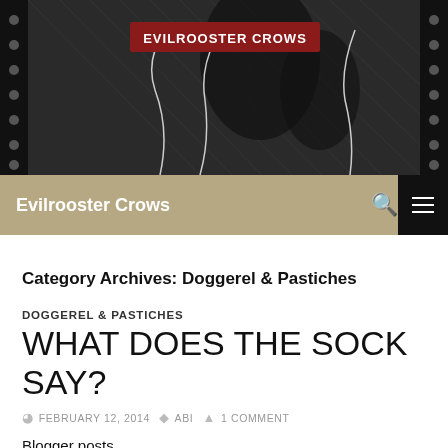[Figure (illustration): Decorative black and white woodcut-style header image with botanical/floral border patterns and a central dark illustration. A red banner with white text 'EVILROOSTER CROWS' overlaid near the top center.]
Evilrooster Crows
Category Archives: Doggerel & Pastiches
DOGGEREL & PASTICHES
WHAT DOES THE SOCK SAY?
FEBRUARY 12, 2014  ABI  1 COMMENT
Blogger posts,